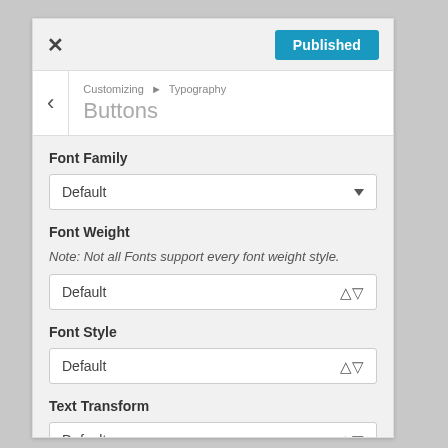[Figure (screenshot): WordPress Customizer panel showing Typography > Buttons settings with Font Family, Font Weight, Font Style, and Text Transform dropdowns all set to Default, and a Published button in the top bar.]